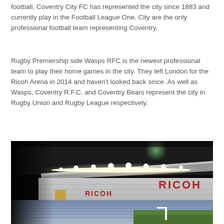football, Coventry City FC has represented the city since 1883 and currently play in the Football League One. City are the only professional football team representing Coventry.
Rugby Premiership side Wasps RFC is the newest professional team to play their home games in the city. They left London for the Ricoh Arena in 2014 and haven't looked back since. As well as Wasps, Coventry R.F.C. and Coventry Bears represent the city in Rugby Union and Rugby League respectively.
[Figure (photo): Night-time photograph of the Ricoh Arena stadium interior, showing the floodlit roof structure, white facade with large red RICOH signage, and blue seating stands with a glimpse of the pitch and goalpost.]